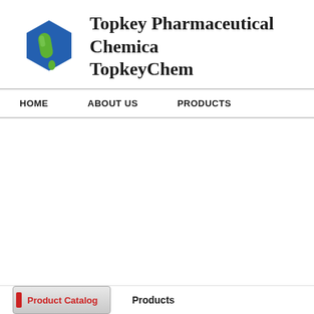[Figure (logo): Topkey Pharmaceutical Chemical company logo: blue hexagon with green pill/capsule shape inside, and a green droplet at the bottom]
Topkey Pharmaceutical Chemical / TopkeyChem
HOME   ABOUT US   PRODUCTS
Product Catalog
Products